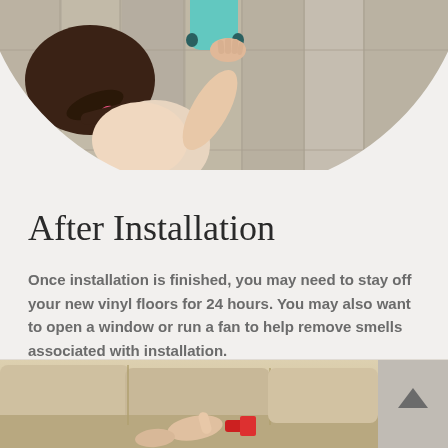[Figure (photo): Overhead view of a child with braided hair lying on a wood-grain vinyl floor, playing with toy cars (teal/mint colored vehicles). Viewed from above in a circular cropped image.]
After Installation
Once installation is finished, you may need to stay off your new vinyl floors for 24 hours. You may also want to open a window or run a fan to help remove smells associated with installation.
[Figure (photo): Partial view of a beige/tan sofa and a hand pointing at something with a red object, bottom strip of page.]